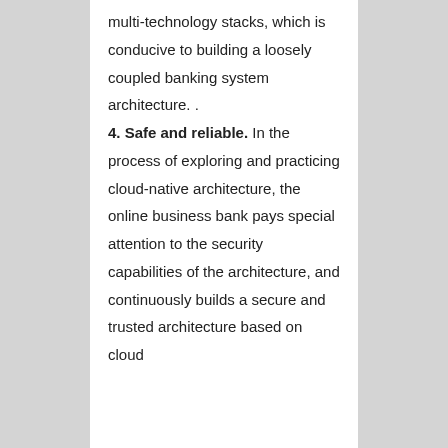multi-technology stacks, which is conducive to building a loosely coupled banking system architecture. .
**4. Safe and reliable. **In the process of exploring and practicing cloud-native architecture, the online business bank pays special attention to the security capabilities of the architecture, and continuously builds a secure and trusted architecture based on cloud